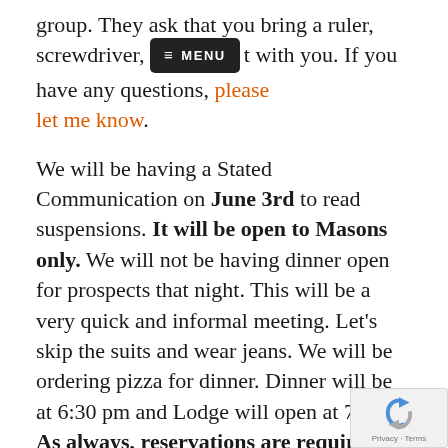group.  They ask that you bring a ruler, screwdriver, [MENU button] t with you.  If you have any questions, please let me know.
We will be having a Stated Communication on June 3rd to read suspensions. It will be open to Masons only. We will not be having dinner open for prospects that night. This will be a very quick and informal meeting.  Let's skip the suits and wear jeans.  We will be ordering pizza for dinner. Dinner will be at 6:30 pm and Lodge will open at 7 pm. As always, reservations are required.  You can make your reservation online here.
On Monday, June 21st, the Denver Consistory is holding its Stated Meeting.  It is Blue Lodge Recognition night and they will be having a Mas Trivia Game.  The meeting is open to all Masons.  If